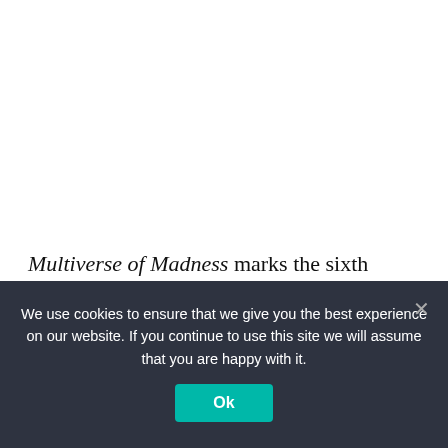Multiverse of Madness marks the sixth cameo Campbell has made in a Raimi film, but he has never been treated as poorly as he is here. Take, for example, his appearances in Raimi's Spider-Man films. In the first
We use cookies to ensure that we give you the best experience on our website. If you continue to use this site we will assume that you are happy with it.